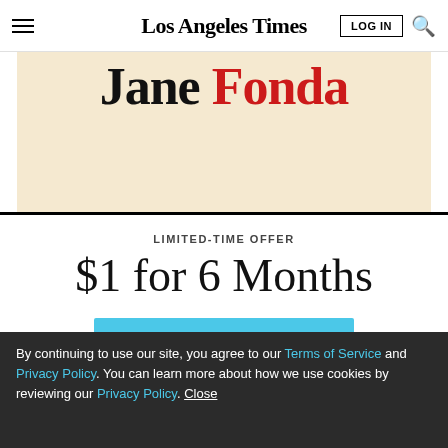Los Angeles Times — LOG IN | Search
[Figure (illustration): Promotional banner with text 'Jane Fonda' in large serif font on a beige/cream background — 'Jane' in black, 'Fonda' in red.]
LIMITED-TIME OFFER
$1 for 6 Months
SUBSCRIBE NOW
By continuing to use our site, you agree to our Terms of Service and Privacy Policy. You can learn more about how we use cookies by reviewing our Privacy Policy. Close